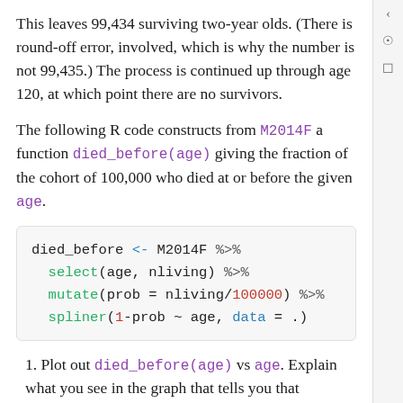This leaves 99,434 surviving two-year olds. (There is round-off error, involved, which is why the number is not 99,435.) The process is continued up through age 120, at which point there are no survivors.
The following R code constructs from M2014F a function died_before(age) giving the fraction of the cohort of 100,000 who died at or before the given age.
died_before <- M2014F %>%
  select(age, nliving) %>%
  mutate(prob = nliving/100000) %>%
  spliner(1-prob ~ age, data = .)
1. Plot out died_before(age) vs age. Explain what you see in the graph that tells you that